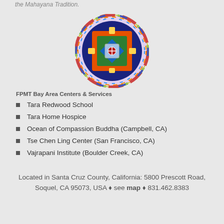the Mahayana Tradition.
[Figure (logo): Circular FPMT logo with colorful mandala-style design featuring geometric shapes in blue, green, orange and red, surrounded by a rainbow-colored decorative border]
FPMT Bay Area Centers & Services
Tara Redwood School
Tara Home Hospice
Ocean of Compassion Buddha (Campbell, CA)
Tse Chen Ling Center (San Francisco, CA)
Vajrapani Institute (Boulder Creek, CA)
Located in Santa Cruz County, California: 5800 Prescott Road, Soquel, CA 95073, USA ♦ see map ♦ 831.462.8383